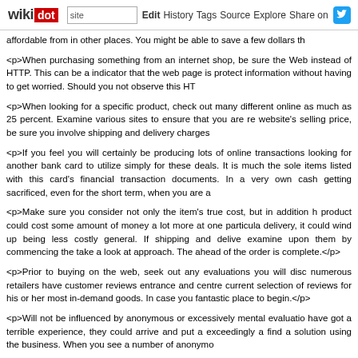wikidot | site | Edit | History | Tags | Source | Explore | Share on Twitter
affordable from in other places. You might be able to save a few dollars th
<p>When purchasing something from an internet shop, be sure the Web instead of HTTP. This can be a indicator that the web page is protect information without having to get worried. Should you not observe this HT
<p>When looking for a specific product, check out many different online as much as 25 percent. Examine various sites to ensure that you are re website's selling price, be sure you involve shipping and delivery charges
<p>If you feel you will certainly be producing lots of online transactions looking for another bank card to utilize simply for these deals. It is much the sole items listed with this card's financial transaction documents. In a very own cash getting sacrificed, even for the short term, when you are a
<p>Make sure you consider not only the item's true cost, but in addition h product could cost some amount of money a lot more at one particula delivery, it could wind up being less costly general. If shipping and delive examine upon them by commencing the take a look at approach. The ahead of the order is complete.</p>
<p>Prior to buying on the web, seek out any evaluations you will disc numerous retailers have customer reviews entrance and centre current selection of reviews for his or her most in-demand goods. In case you fantastic place to begin.</p>
<p>Will not be influenced by anonymous or excessively mental evaluatio have got a terrible experience, they could arrive and put a exceedingly a find a solution using the business. When you see a number of anonymo